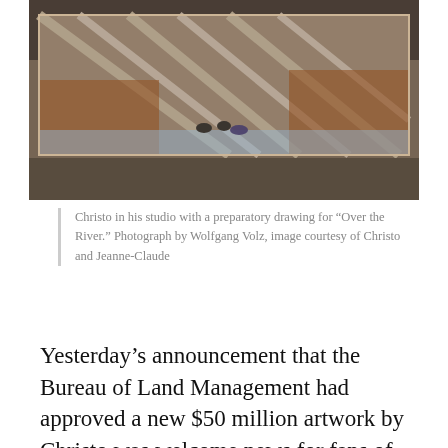[Figure (photo): Christo in his studio with a large preparatory drawing for 'Over the River', showing a landscape with river and fabric canopy overhead. People visible in the drawing.]
Christo in his studio with a preparatory drawing for “Over the River.” Photograph by Wolfgang Volz, image courtesy of Christo and Jeanne-Claude
Yesterday’s announcement that the Bureau of Land Management had approved a new $50 million artwork by Christo was welcome news for fans of the environmental artist, whose last major work was 2005’s “The Gates”—a series of saffron-colored vinyl gates built in New York’s